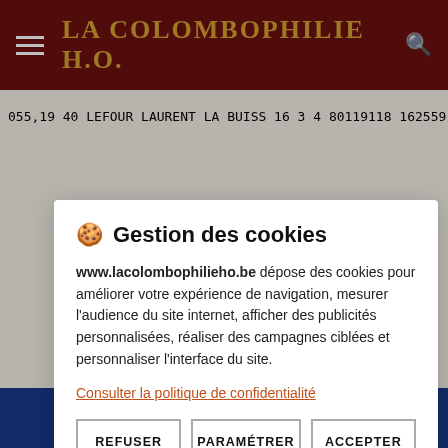LA COLOMBOPHILIE H.O.
055,19 40 LEFOUR LAURENT LA BUISS 16 3 4 80119118 162559.9 1054,85 41 RYDE MICHEL MARCINEL 10 9 49030300 9 164214.0 1051,77 42 VANDERVELDEN J-B LOVERVAL 4 2 326921 9046506 9 164100.0 1051,18 43 DEVERGNIES FRED ET FA ANDERLUE 13 11 323763 911475 6 9 162929.0 1049.95 44 GERILLE FRANCIS MONTIGNY
🍪 Gestion des cookies
www.lacolombophilieho.be dépose des cookies pour améliorer votre expérience de navigation, mesurer l'audience du site internet, afficher des publicités personnalisées, réaliser des campagnes ciblées et personnaliser l'interface du site.
Consulter la politique de confidentialité
REFUSER | PARAMÉTRER | ACCEPTER